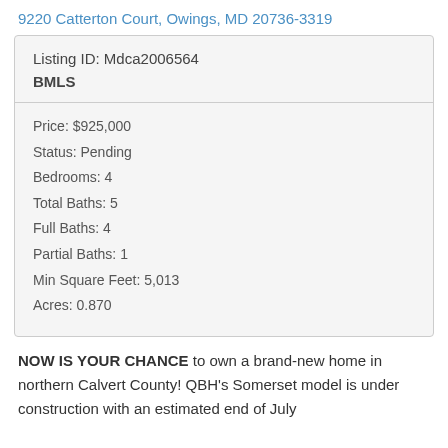9220 Catterton Court, Owings, MD 20736-3319
| Listing ID: Mdca2006564 |
| BMLS |
Price: $925,000
Status: Pending
Bedrooms: 4
Total Baths: 5
Full Baths: 4
Partial Baths: 1
Min Square Feet: 5,013
Acres: 0.870
NOW IS YOUR CHANCE to own a brand-new home in northern Calvert County! QBH's Somerset model is under construction with an estimated end of July